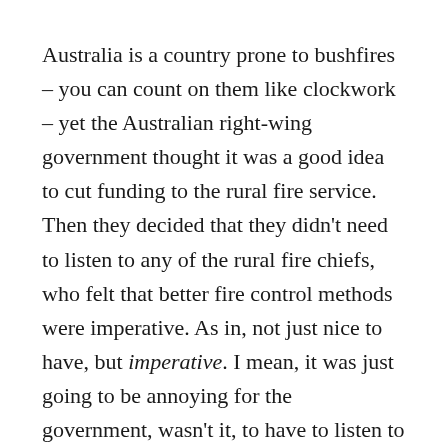Australia is a country prone to bushfires – you can count on them like clockwork – yet the Australian right-wing government thought it was a good idea to cut funding to the rural fire service. Then they decided that they didn't need to listen to any of the rural fire chiefs, who felt that better fire control methods were imperative. As in, not just nice to have, but imperative. I mean, it was just going to be annoying for the government, wasn't it, to have to listen to things that they didn't want to hear.
If a government is going to sell tax cuts, lower government spending, and more individual responsibility (aka: you're on your own) as its ticket to